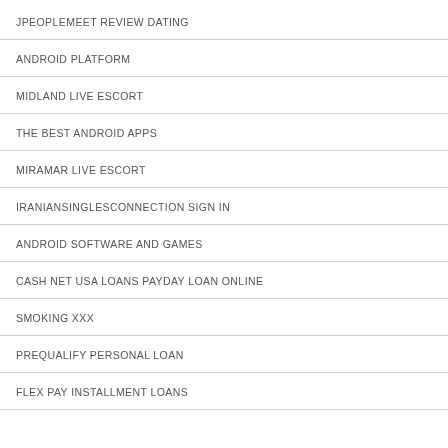JPEOPLEMEET REVIEW DATING
ANDROID PLATFORM
MIDLAND LIVE ESCORT
THE BEST ANDROID APPS
MIRAMAR LIVE ESCORT
IRANIANSINGLESCONNECTION SIGN IN
ANDROID SOFTWARE AND GAMES
CASH NET USA LOANS PAYDAY LOAN ONLINE
SMOKING XXX
PREQUALIFY PERSONAL LOAN
FLEX PAY INSTALLMENT LOANS